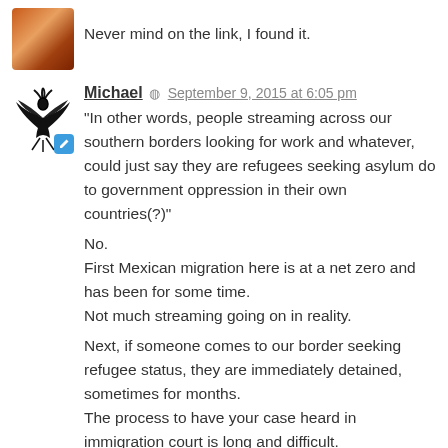Never mind on the link, I found it.
Michael  September 9, 2015 at 6:05 pm
“In other words, people streaming across our southern borders looking for work and whatever, could just say they are refugees seeking asylum do to government oppression in their own countries(?)”

No.
First Mexican migration here is at a net zero and has been for some time.
Not much streaming going on in reality.

Next, if someone comes to our border seeking refugee status, they are immediately detained, sometimes for months.
The process to have your case heard in immigration court is long and difficult.
Refugee status is rarely granted to Mexicans as to do so